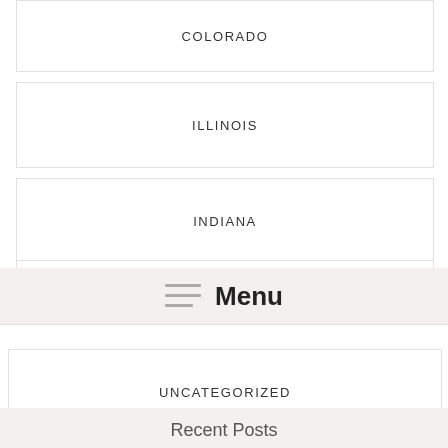COLORADO
ILLINOIS
INDIANA
Menu
UNCATEGORIZED
Recent Posts